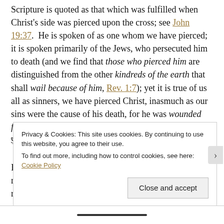Scripture is quoted as that which was fulfilled when Christ's side was pierced upon the cross; see John 19:37. He is spoken of as one whom we have pierced; it is spoken primarily of the Jews, who persecuted him to death (and we find that those who pierced him are distinguished from the other kindreds of the earth that shall wail because of him, Rev. 1:7); yet it is true of us all as sinners, we have pierced Christ, inasmuch as our sins were the cause of his death, for he was wounded for our transgressions, and they are the grief of his soul..."
Tragic Times of Persecution
I don't go looking for evil acts, but my son brought to my attention a couple of attacks carried out by Muslims recently,
Privacy & Cookies: This site uses cookies. By continuing to use this website, you agree to their use.
To find out more, including how to control cookies, see here: Cookie Policy
Close and accept